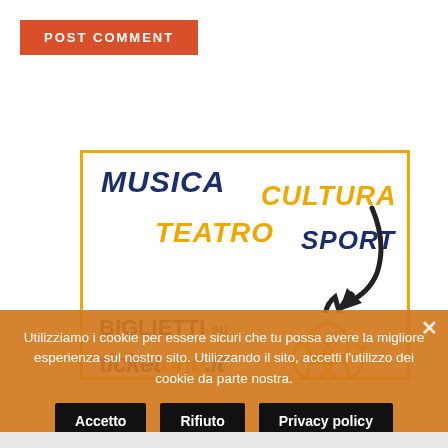POST COMMENT
[Figure (logo): Ticketone.it logo banner with categories: MUSICA, CULTURA, TEATRO, SPORT and brand name BIGLIETTI su ticketone.it with sparkle icon and arrow graphic]
Utilizziamo i cookie per essere sicuri che tu possa avere la migliore esperienza sul nostro sito. Utilizzando il sito, accetti l'utilizzo dei cookie da parte nostra.
Accetto
Rifiuto
Privacy policy